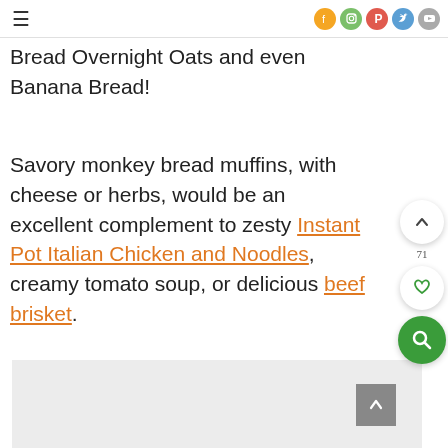≡  [social icons: Facebook, Instagram, Pinterest, Twitter, YouTube]
Bread Overnight Oats and even Banana Bread!
Savory monkey bread muffins, with cheese or herbs, would be an excellent complement to zesty Instant Pot Italian Chicken and Noodles, creamy tomato soup, or delicious beef brisket.
[Figure (photo): Partial image visible at bottom of page, light gray placeholder area]